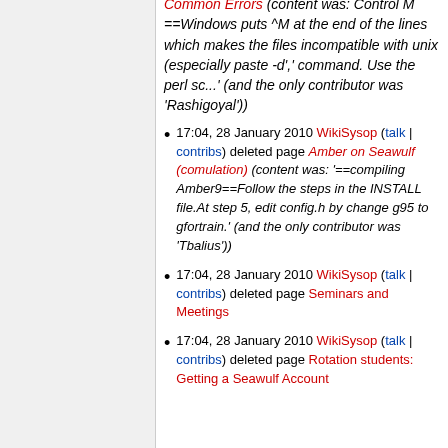(content was: Control M ==Windows puts ^M at the end of the lines which makes the files incompatible with unix (especially paste -d',' command. Use the perl sc...' (and the only contributor was 'Rashigoyal'))
17:04, 28 January 2010 WikiSysop (talk | contribs) deleted page Amber on Seawulf (comulation) (content was: '==compiling Amber9==Follow the steps in the INSTALL file.At step 5, edit config.h by change g95 to gfortrain.' (and the only contributor was 'Tbalius'))
17:04, 28 January 2010 WikiSysop (talk | contribs) deleted page Seminars and Meetings
17:04, 28 January 2010 WikiSysop (talk | contribs) deleted page Rotation students: Getting a Seawulf Account